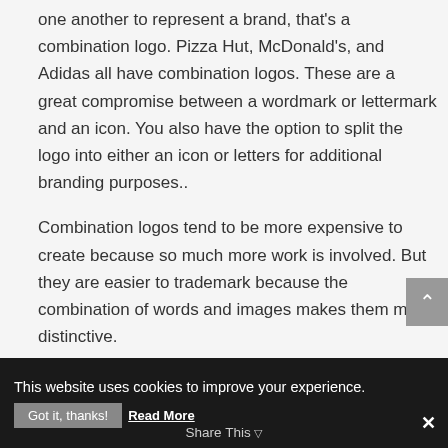one another to represent a brand, that's a combination logo. Pizza Hut, McDonald's, and Adidas all have combination logos. These are a great compromise between a wordmark or lettermark and an icon. You also have the option to split the logo into either an icon or letters for additional branding purposes..
Combination logos tend to be more expensive to create because so much more work is involved. But they are easier to trademark because the combination of words and images makes them more distinctive.
This website uses cookies to improve your experience. Got it, thanks! Read More Share This ✕